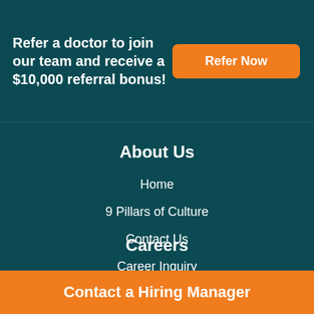Refer a doctor to join our team and receive a $10,000 referral bonus!
Refer Now
About Us
Home
9 Pillars of Culture
Contact Us
Career Inquiry
Affiliate Opportunities
Privacy Policy
Careers
Contact a Hiring Manager